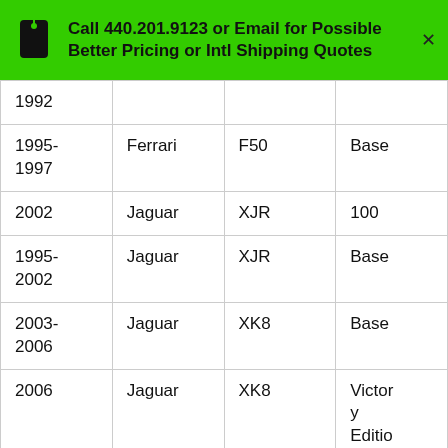Call 440.201.9123 or Email for Possible Better Pricing or Intl Shipping Quotes
| 1992 |  |  |  |
| 1995-1997 | Ferrari | F50 | Base |
| 2002 | Jaguar | XJR | 100 |
| 1995-2002 | Jaguar | XJR | Base |
| 2003-2006 | Jaguar | XK8 | Base |
| 2006 | Jaguar | XK8 | Victory Edition |